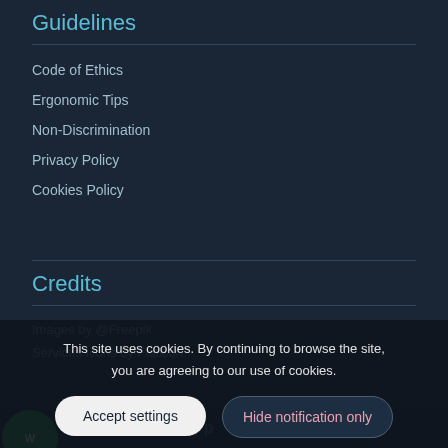Guidelines
Code of Ethics
Ergonomic Tips
Non-Discrimination
Privacy Policy
Cookies Policy
Credits
Images by @Freepik
Services Icons by Flaticon
This site uses cookies. By continuing to browse the site, you are agreeing to our use of cookies.
Accept settings
Hide notification only
Additional info
Whatsapp